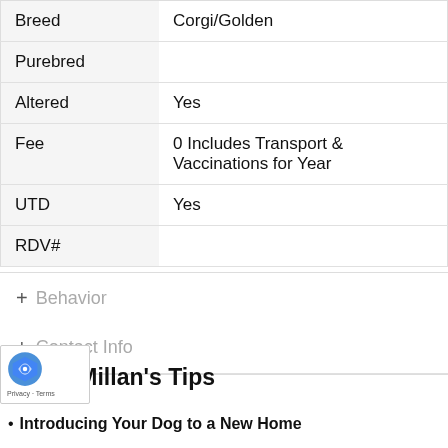| Field | Value |
| --- | --- |
| Breed | Corgi/Golden |
| Purebred |  |
| Altered | Yes |
| Fee | 0 Includes Transport & Vaccinations for Year |
| UTD | Yes |
| RDV# |  |
+ Behavior
+ Contact Info
Cesar Millan's Tips
Introducing Your Dog to a New Home